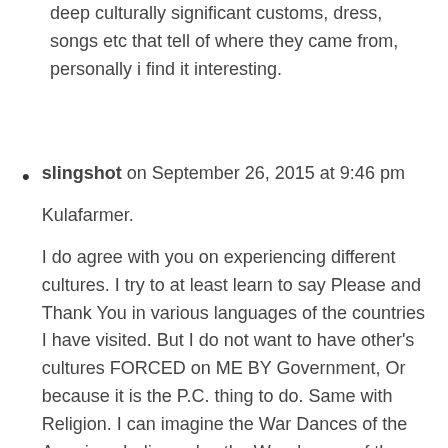deep culturally significant customs, dress, songs etc that tell of where they came from, personally i find it interesting.
slingshot on September 26, 2015 at 9:46 pm

Kulafarmer.

I do agree with you on experiencing different cultures. I try to at least learn to say Please and Thank You in various languages of the countries I have visited. But I do not want to have other's cultures FORCED on ME BY Government, Or because it is the P.C. thing to do. Same with Religion. I can imagine the War Dances of the American Indians also the War dances of the Islander's in the Pacific of long